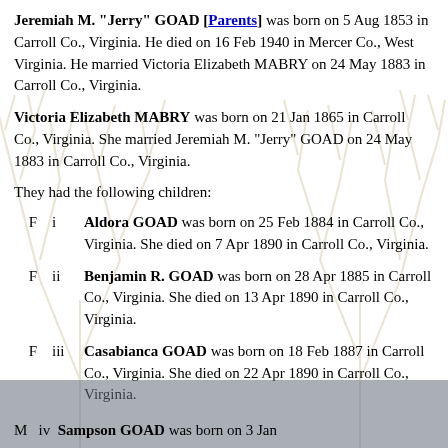Jeremiah M. "Jerry" GOAD [Parents] was born on 5 Aug 1853 in Carroll Co., Virginia. He died on 16 Feb 1940 in Mercer Co., West Virginia. He married Victoria Elizabeth MABRY on 24 May 1883 in Carroll Co., Virginia.
Victoria Elizabeth MABRY was born on 21 Jan 1865 in Carroll Co., Virginia. She married Jeremiah M. "Jerry" GOAD on 24 May 1883 in Carroll Co., Virginia.
They had the following children:
F  i  Aldora GOAD was born on 25 Feb 1884 in Carroll Co., Virginia. She died on 7 Apr 1890 in Carroll Co., Virginia.
F  ii  Benjamin R. GOAD was born on 28 Apr 1885 in Carroll Co., Virginia. She died on 13 Apr 1890 in Carroll Co., Virginia.
F  iii  Casabianca GOAD was born on 18 Feb 1887 in Carroll Co., Virginia. She died on 22 Apr 1890 in Carroll Co., Virginia.
M  iv  Sampson GOAD was born on 3 Jan